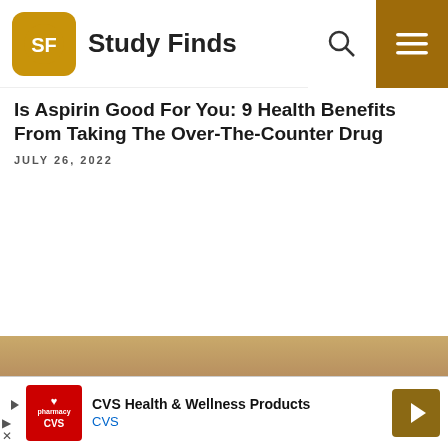Study Finds
Is Aspirin Good For You: 9 Health Benefits From Taking The Over-The-Counter Drug
JULY 26, 2022
[Figure (photo): Partial photo visible at bottom of page, appears to show a person or medical scene]
CVS Health & Wellness Products CVS